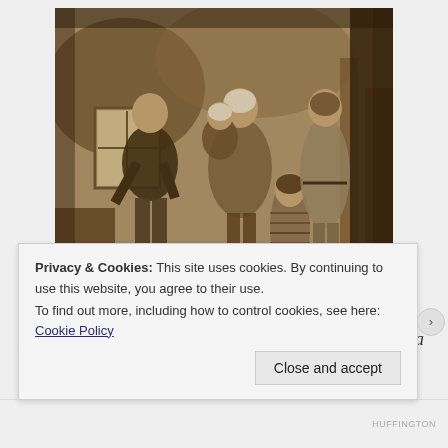[Figure (photo): Sepia-toned historical photograph of a family group of five people standing in front of a rough stone or mud wall. A man in a vest stands on the left, a woman holding a child in the center, another woman on the right, and a small child in a plaid dress standing in front.]
Numbers are seductive to us all, alluring, like the aroma of a fine (organically grown and fairly traded) coffee. They whisper promises of clarity in our ears. Easy solutions to complex
Privacy & Cookies: This site uses cookies. By continuing to use this website, you agree to their use.
To find out more, including how to control cookies, see here: Cookie Policy
Close and accept